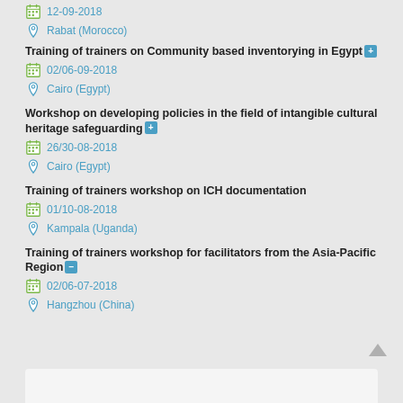12-09-2018
Rabat (Morocco)
Training of trainers on Community based inventorying in Egypt
02/06-09-2018
Cairo (Egypt)
Workshop on developing policies in the field of intangible cultural heritage safeguarding
26/30-08-2018
Cairo (Egypt)
Training of trainers workshop on ICH documentation
01/10-08-2018
Kampala (Uganda)
Training of trainers workshop for facilitators from the Asia-Pacific Region
02/06-07-2018
Hangzhou (China)